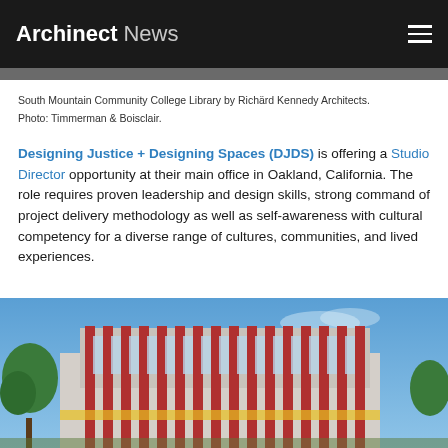Archinect News
South Mountain Community College Library by Richärd Kennedy Architects. Photo: Timmerman & Boisclair.
Designing Justice + Designing Spaces (DJDS) is offering a Studio Director opportunity at their main office in Oakland, California. The role requires proven leadership and design skills, strong command of project delivery methodology as well as self-awareness with cultural competency for a diverse range of cultures, communities, and lived experiences.
[Figure (photo): Exterior rendering of a modern community college library building with red and white vertical elements on the facade, surrounded by trees and a blue sky.]